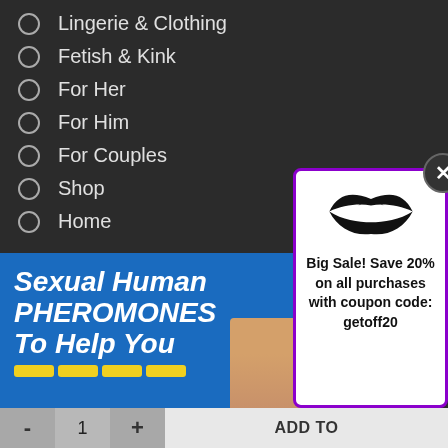Lingerie & Clothing
Fetish & Kink
For Her
For Him
For Couples
Shop
Home
[Figure (photo): Banner advertisement for Sexual Human Pheromones with blue background and woman's face]
[Figure (infographic): Popup with lips graphic and coupon: Big Sale! Save 20% on all purchases with coupon code: getoff20]